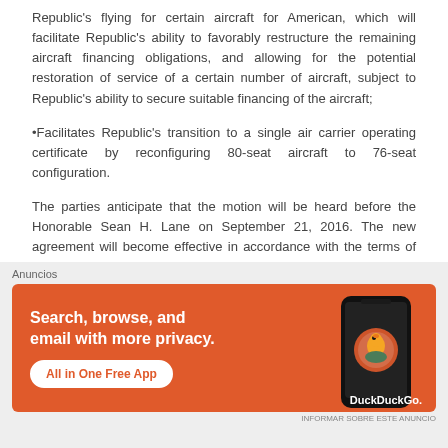Republic's flying for certain aircraft for American, which will facilitate Republic's ability to favorably restructure the remaining aircraft financing obligations, and allowing for the potential restoration of service of a certain number of aircraft, subject to Republic's ability to secure suitable financing of the aircraft;
•Facilitates Republic's transition to a single air carrier operating certificate by reconfiguring 80-seat aircraft to 76-seat configuration.
The parties anticipate that the motion will be heard before the Honorable Sean H. Lane on September 21, 2016. The new agreement will become effective in accordance with the terms of the Amendment following issuance of the approval order by the court. A\W
[Figure (screenshot): Advertisement banner for DuckDuckGo app: orange background with text 'Search, browse, and email with more privacy. All in One Free App' and a phone graphic with DuckDuckGo logo. Labeled 'Anuncios' above.]